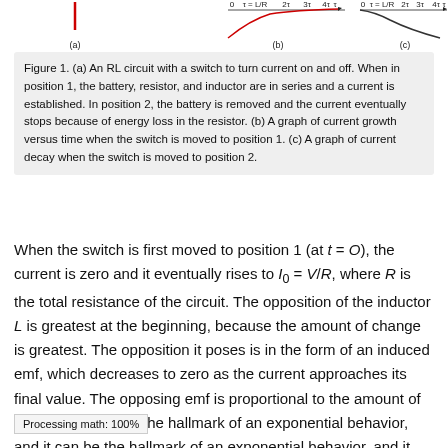[Figure (continuous-plot): Partial view of three subplots (a), (b), (c) showing an RL circuit diagram and current growth/decay graphs. Only the top portions of the graphs are visible, with x-axis labels: 0, τ=L/R, 2τ, 3τ, 4τ for plots (b) and (c), and labels (a), (b), (c) below each subplot.]
Figure 1. (a) An RL circuit with a switch to turn current on and off. When in position 1, the battery, resistor, and inductor are in series and a current is established. In position 2, the battery is removed and the current eventually stops because of energy loss in the resistor. (b) A graph of current growth versus time when the switch is moved to position 1. (c) A graph of current decay when the switch is moved to position 2.
When the switch is first moved to position 1 (at t = O), the current is zero and it eventually rises to I₀ = V/R, where R is the total resistance of the circuit. The opposition of the inductor L is greatest at the beginning, because the amount of change is greatest. The opposition it poses is in the form of an induced emf, which decreases to zero as the current approaches its final value. The opposing emf is proportional to the amount of change left. This is the hallmark of an exponential behavior, and it can be shown using calculus that
Processing math: 100%